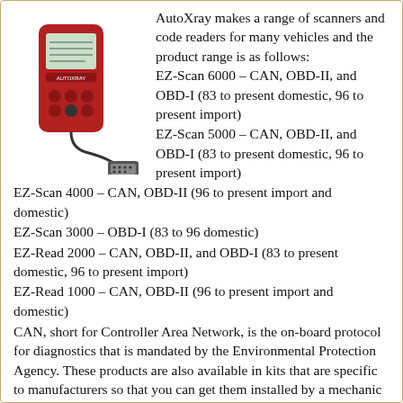[Figure (photo): Red AutoXray handheld scanner device with cable and OBD connector]
AutoXray makes a range of scanners and code readers for many vehicles and the product range is as follows:
EZ-Scan 6000 – CAN, OBD-II, and OBD-I (83 to present domestic, 96 to present import)
EZ-Scan 5000 – CAN, OBD-II, and OBD-I (83 to present domestic, 96 to present import)
EZ-Scan 4000 – CAN, OBD-II (96 to present import and domestic)
EZ-Scan 3000 – OBD-I (83 to 96 domestic)
EZ-Read 2000 – CAN, OBD-II, and OBD-I (83 to present domestic, 96 to present import)
EZ-Read 1000 – CAN, OBD-II (96 to present import and domestic)
CAN, short for Controller Area Network, is the on-board protocol for diagnostics that is mandated by the Environmental Protection Agency. These products are also available in kits that are specific to manufacturers so that you can get them installed by a mechanic who specializes in vehicles manufactured by a specific manufacturer.
The products do not presently cater for the bi-directional mode and also do not support ABS or Transmission. These products currently communicate with the system that controls the power